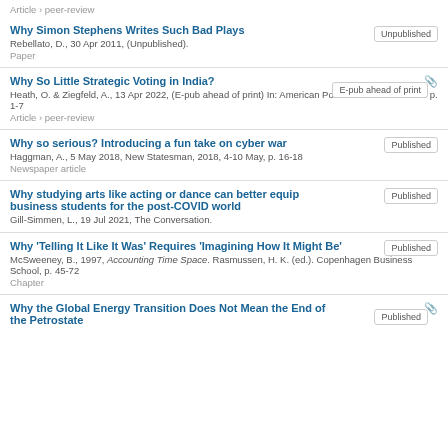Article › peer-review
Why Simon Stephens Writes Such Bad Plays
Rebellato, D., 30 Apr 2011, (Unpublished).
Paper
Why So Little Strategic Voting in India?
Heath, O. & Ziegfeld, A., 13 Apr 2022, (E-pub ahead of print) In: American Political Science Review. p. 1-7
Article › peer-review
Why so serious? Introducing a fun take on cyber war
Haggman, A., 5 May 2018, New Statesman, 2018, 4-10 May, p. 16-18
Newspaper article
Why studying arts like acting or dance can better equip business students for the post-COVID world
Gill-Simmen, L., 19 Jul 2021, The Conversation.
Why 'Telling It Like It Was' Requires 'Imagining How It Might Be'
McSweeney, B., 1997, Accounting Time Space. Rasmussen, H. K. (ed.). Copenhagen Business School, p. 45-72
Chapter
Why the Global Energy Transition Does Not Mean the End of the Petrostate